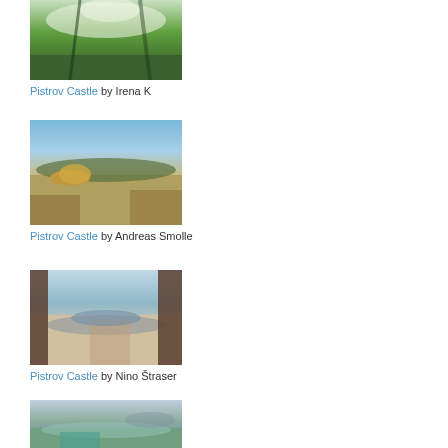[Figure (photo): Landscape photo of Pistrov Castle area showing green hillside with trees and sunlight, by Irena K]
Pistrov Castle by Irena K
[Figure (photo): Landscape photo of Pistrov Castle area showing dry field with haystack and forest backdrop under blue sky, by Andreas Smolle]
Pistrov Castle by Andreas Smolle
[Figure (photo): View through tree trunks looking down at a town with river/lake and valley below, by Nino Štraser]
Pistrov Castle by Nino Štraser
[Figure (photo): Aerial landscape view showing river, wetlands, and town with mountains in background]